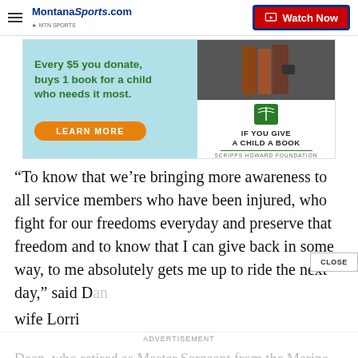MontanaSports.com | Watch Now
[Figure (screenshot): Advertisement banner: 'Every $5 you donate, buys 1 book for a child who needs it most. LEARN MORE' with 'IF YOU GIVE A CHILD A BOOK - Scripps Howard Foundation' branding and book imagery]
“To know that we’re bringing more awareness to all service members who have been injured, who fight for our freedoms everyday and preserve that freedom and to know that I can give back in some way, to me absolutely gets me up to ride the next day,” said D… wife Lorri
ADVERTISEMENT
Dean, who retired as Master Sergeant from the Marine Corps…